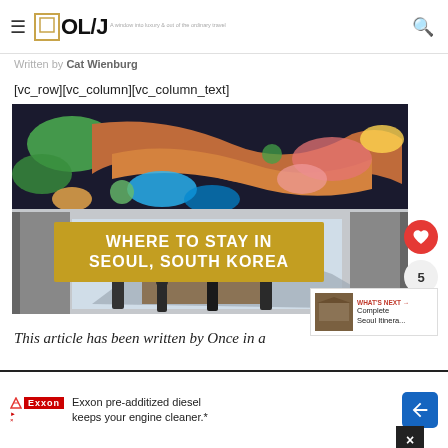OL/J — A window into luxury & out of the ordinary travel
Written by Cat Wienburg
[vc_row][vc_column][vc_column_text]
[Figure (photo): Hero image for 'Where to Stay in Seoul, South Korea' travel article. Shows a Korean palace gate with colorful dragon ceiling mural. Gold banner overlay reads 'WHERE TO STAY IN SEOUL, SOUTH KOREA'. Social share/like buttons and 'WHAT'S NEXT: Complete Seoul Itinera...' panel visible.]
This article has been written by Once in a li...
Exxon pre-additized diesel keeps your engine cleaner.*